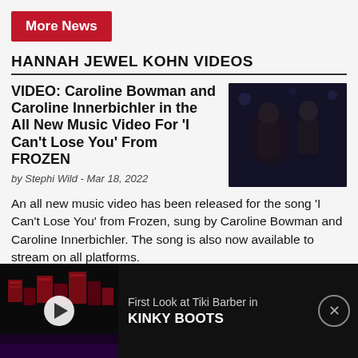More News
HANNAH JEWEL KOHN VIDEOS
VIDEO: Caroline Bowman and Caroline Innerbichler in the All New Music Video For 'I Can't Lose You' From FROZEN
by Stephi Wild - Mar 18, 2022
[Figure (photo): Dark scene showing two women facing each other, from the FROZEN music video]
An all new music video has been released for the song 'I Can't Lose You' from Frozen, sung by Caroline Bowman and Caroline Innerbichler. The song is also now available to stream on all platforms.
[Figure (screenshot): Video thumbnail showing a dark stage with red geometric set pieces from Kinky Boots, with a play button overlay. Caption: First Look at Tiki Barber in KINKY BOOTS]